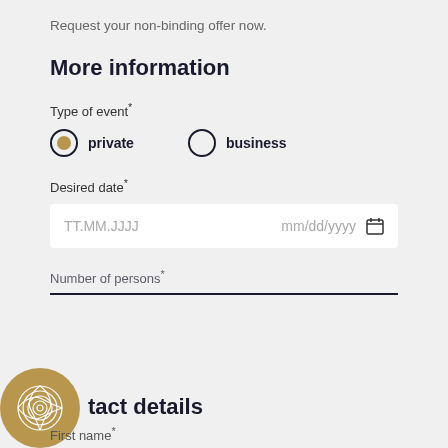Request your non-binding offer now.
More information
Type of event*
private   business
Desired date*
TT.MM.JJJJ   mm/dd/yyyy
Number of persons*
tact details
First name*